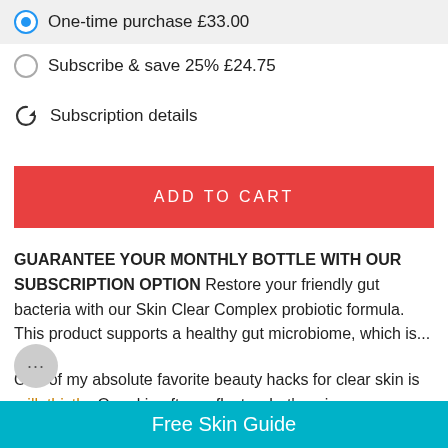One-time purchase £33.00
Subscribe & save 25% £24.75
Subscription details
ADD TO CART
GUARANTEE YOUR MONTHLY BOTTLE WITH OUR SUBSCRIPTION OPTION Restore your friendly gut bacteria with our Skin Clear Complex probiotic formula. This product supports a healthy gut microbiome, which is...
One of my absolute favorite beauty hacks for clear skin is milk thistle. Our skin often reflects what's going on internally for us, and if we struggle with a build up of toxins in any of our channels of elimination, we might notice this reflecting in other parts of our
Free Skin Guide